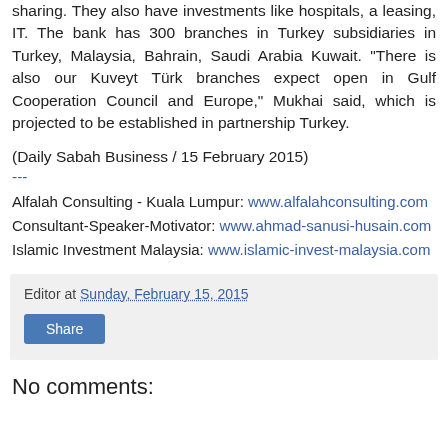sharing. They also have investments like hospitals, a leasing, IT. The bank has 300 branches in Turkey subsidiaries in Turkey, Malaysia, Bahrain, Saudi Arabia Kuwait. "There is also our Kuveyt Türk branches expect open in Gulf Cooperation Council and Europe," Mukhai said, which is projected to be established in partnership Turkey.
(Daily Sabah Business / 15 February 2015)
---
Alfalah Consulting - Kuala Lumpur: www.alfalahconsulting.com
Consultant-Speaker-Motivator: www.ahmad-sanusi-husain.com
Islamic Investment Malaysia: www.islamic-invest-malaysia.com
Editor at Sunday, February 15, 2015
Share
No comments: